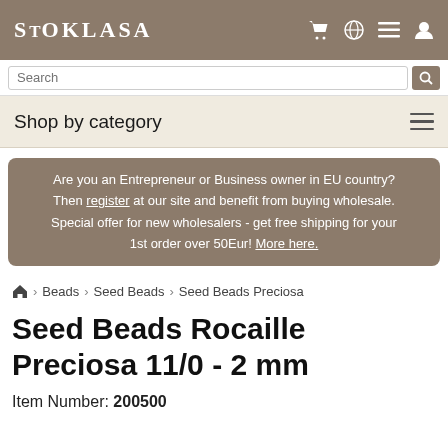STOKLASA
Shop by category
Are you an Entrepreneur or Business owner in EU country? Then register at our site and benefit from buying wholesale. Special offer for new wholesalers - get free shipping for your 1st order over 50Eur! More here.
Beads > Seed Beads > Seed Beads Preciosa
Seed Beads Rocaille Preciosa 11/0 - 2 mm
Item Number: 200500